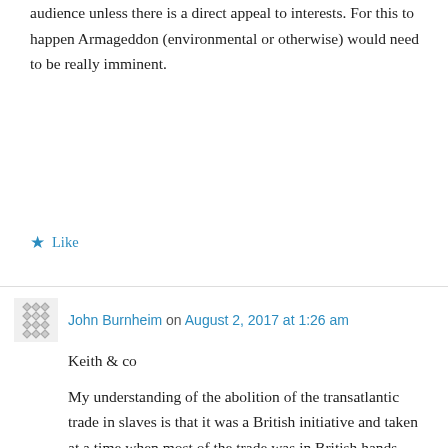audience unless there is a direct appeal to interests. For this to happen Armageddon (environmental or otherwise) would need to be really imminent.
★ Like
John Burnheim on August 2, 2017 at 1:26 am
Keith & co
My understanding of the abolition of the transatlantic trade in slaves is that it was a British initiative and taken at a time when most of the trade was in British hands.
Of course getting things done in legislatures is necessary a matter of politics and so of interests,